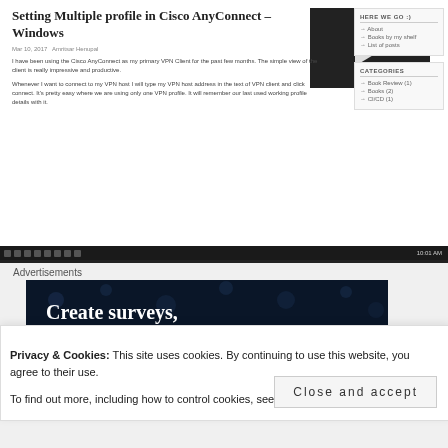[Figure (screenshot): Screenshot of a WordPress blog post titled 'Setting Multiple profile in Cisco AnyConnect – Windows' with a YouTube video thumbnail, sidebar with navigation links and categories, and a Windows taskbar at the bottom.]
Advertisements
[Figure (screenshot): Advertisement banner with dark navy background and white bold text reading 'Create surveys, polls, quizzes, and forms.' with decorative dots and a pink bar at the bottom.]
Privacy & Cookies: This site uses cookies. By continuing to use this website, you agree to their use.
To find out more, including how to control cookies, see here: Cookie Policy
Close and accept